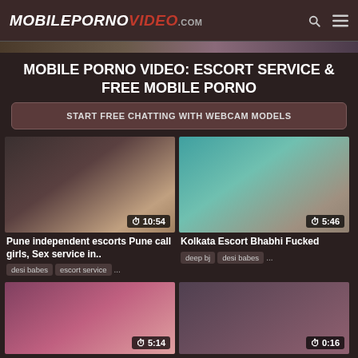MOBILEPORNOVIDEO.com
MOBILE PORNO VIDEO: ESCORT SERVICE & FREE MOBILE PORNO
START FREE CHATTING WITH WEBCAM MODELS
[Figure (screenshot): Video thumbnail 1 - 10:54 duration]
Pune independent escorts Pune call girls, Sex service in..
desi babes  escort service  ...
[Figure (screenshot): Video thumbnail 2 - 5:46 duration]
Kolkata Escort Bhabhi Fucked
deep bj  desi babes  ...
[Figure (screenshot): Video thumbnail 3 - 5:14 duration]
[Figure (screenshot): Video thumbnail 4 - 0:16 duration]